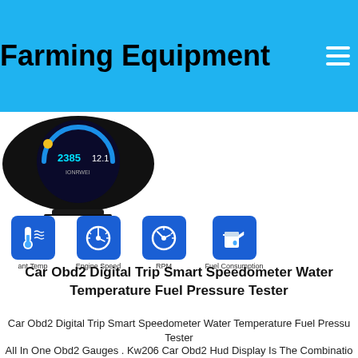Farming Equipment
[Figure (photo): Car OBD2 digital gauge device with circular display showing numbers 2385 and 12.1, with blue gauge interface on black circular housing with stand]
[Figure (infographic): Four blue icon buttons showing: Coolant Temp, Engine Speed, RPM, Fuel Consumption]
Car Obd2 Digital Trip Smart Speedometer Water Temperature Fuel Pressure Tester
Car Obd2 Digital Trip Smart Speedometer Water Temperature Fuel Pressure Tester
All In One Obd2 Gauges . Kw206 Car Obd2 Hud Display Is The Combination Of Automotive Trip Computer Gauge And Diagnostic Scan Gauge. Professional Obd2 Scanner . Extra Features . Also It Supports Software Update To Fix Any Possible Issue You Can Leave Obd2 Gauges Stay In The Car Without Unplugging. Kw206 Will Automatiy Enter Sleep Mode When